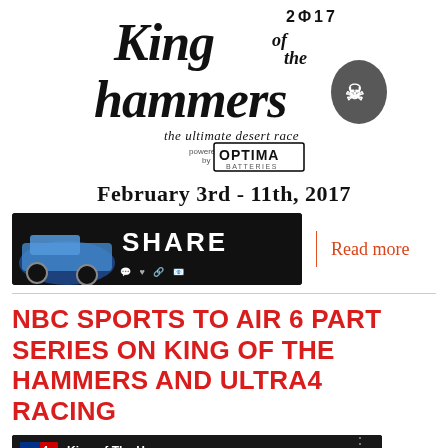[Figure (logo): 2017 King of the Hammers logo with text 'the ultimate desert race powered by OPTIMA BATTERIES']
February 3rd - 11th, 2017
[Figure (infographic): Share button with off-road truck image and social media icons]
Read more
NBC SPORTS TO AIR 6 PART SERIES ON KING OF THE HAMMERS AND ULTRA4 RACING
[Figure (screenshot): Video thumbnail showing Ultra4 King of The Hammer... with dark scene]